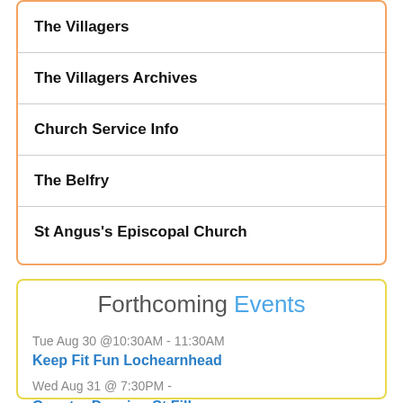The Villagers
The Villagers Archives
Church Service Info
The Belfry
St Angus's Episcopal Church
Forthcoming Events
Tue Aug 30 @10:30AM - 11:30AM
Keep Fit Fun Lochearnhead
Wed Aug 31 @ 7:30PM -
Country Dancing St Fillans
Tue Sep 06 @10:30AM - 11:30AM
Keep Fit Fun Lochearnhead
Wed Sep 07 @ 7:30PM -
Country Dancing St Fillans